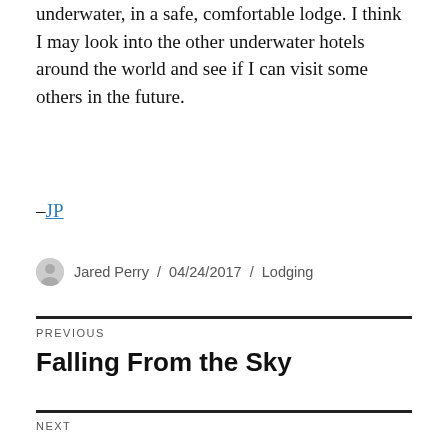underwater, in a safe, comfortable lodge. I think I may look into the other underwater hotels around the world and see if I can visit some others in the future.
–JP
Jared Perry / 04/24/2017 / Lodging
PREVIOUS
Falling From the Sky
NEXT